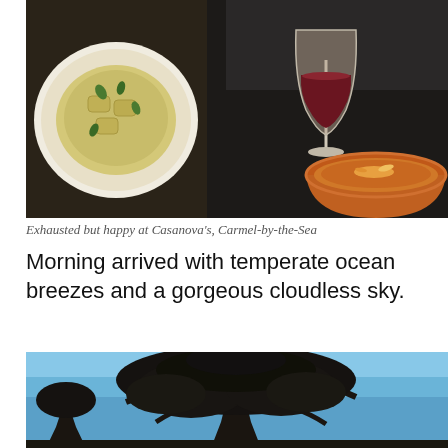[Figure (photo): Restaurant food photo: left side shows a white plate with pasta/ravioli in cream sauce with herbs; right side shows a wine glass with red wine and an orange/terracotta bowl with food, person in dark shirt visible in background]
Exhausted but happy at Casanova's, Carmel-by-the-Sea
Morning arrived with temperate ocean breezes and a gorgeous cloudless sky.
[Figure (photo): Outdoor photo showing a large cypress or similar coastal tree with wide spreading canopy against a clear blue sky, with additional trees visible in the background]